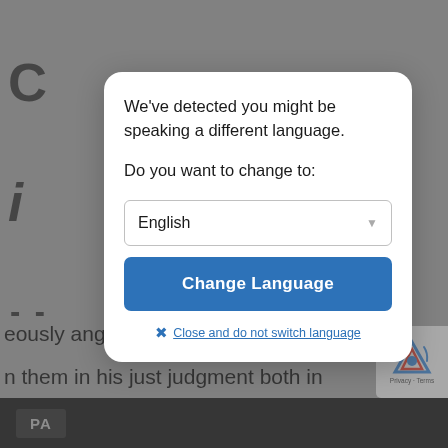[Figure (screenshot): Background webpage content showing partial text of a document in a dark/gray dimmed state behind a modal dialog overlay]
We've detected you might be speaking a different language.

Do you want to change to:
English
Change Language
Close and do not switch language
eously angry with our sins and wi
n them in his just judgment both in